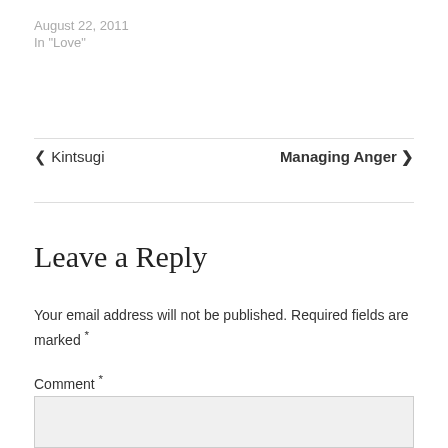August 22, 2011
In "Love"
< Kintsugi
Managing Anger >
Leave a Reply
Your email address will not be published. Required fields are marked *
Comment *